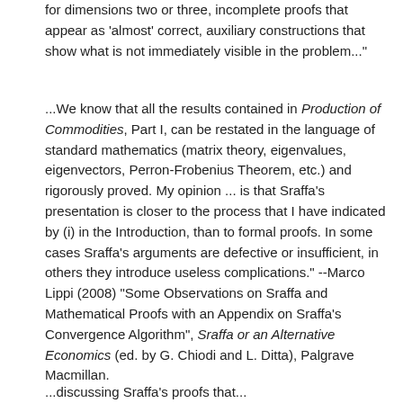for dimensions two or three, incomplete proofs that appear as 'almost' correct, auxiliary constructions that show what is not immediately visible in the problem..."
...We know that all the results contained in Production of Commodities, Part I, can be restated in the language of standard mathematics (matrix theory, eigenvalues, eigenvectors, Perron-Frobenius Theorem, etc.) and rigorously proved. My opinion ... is that Sraffa's presentation is closer to the process that I have indicated by (i) in the Introduction, than to formal proofs. In some cases Sraffa's arguments are defective or insufficient, in others they introduce useless complications." --Marco Lippi (2008) "Some Observations on Sraffa and Mathematical Proofs with an Appendix on Sraffa's Convergence Algorithm", Sraffa or an Alternative Economics (ed. by G. Chiodi and L. Ditta), Palgrave Macmillan.
...discussing Sraffa's proofs that...